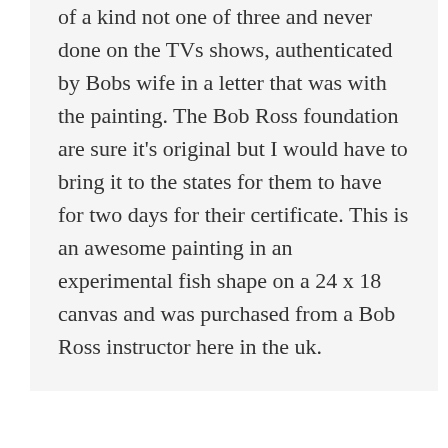of a kind not one of three and never done on the TVs shows, authenticated by Bobs wife in a letter that was with the painting. The Bob Ross foundation are sure it's original but I would have to bring it to the states for them to have for two days for their certificate. This is an awesome painting in an experimental fish shape on a 24 x 18 canvas and was purchased from a Bob Ross instructor here in the uk.
Billy O Riley's Ross
7:49 am on October 30, 2017
I learned Bob Ross' style of painting over the last few years and have been making